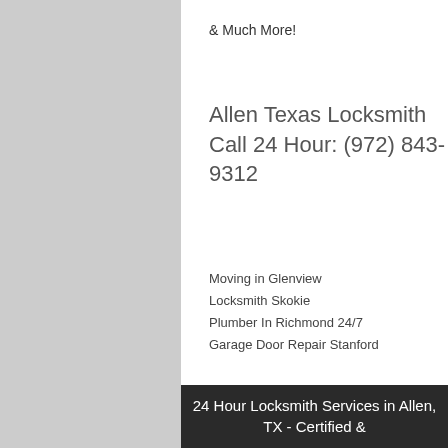& Much More!
Allen Texas Locksmith Call 24 Hour: (972) 843-9312
Moving in Glenview
Locksmith Skokie
Plumber In Richmond 24/7
Garage Door Repair Stanford
24 Hour Locksmith Services in Allen, TX - Certified &